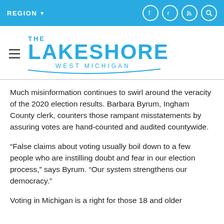REGION
[Figure (logo): The Lakeshore West Michigan logo with hamburger menu icon]
Much misinformation continues to swirl around the veracity of the 2020 election results. Barbara Byrum, Ingham County clerk, counters those rampant misstatements by assuring votes are hand-counted and audited countywide.
“False claims about voting usually boil down to a few people who are instilling doubt and fear in our election process,” says Byrum. “Our system strengthens our democracy.”
Voting in Michigan is a right for those 18 and older